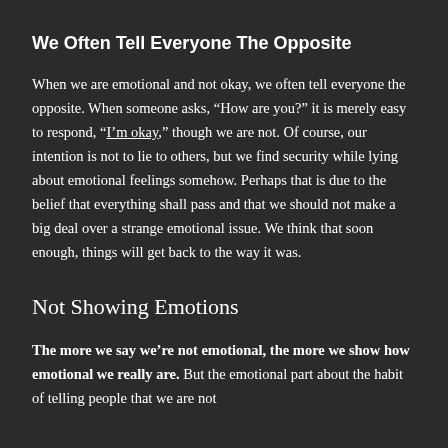We Often Tell Everyone The Opposite
When we are emotional and not okay, we often tell everyone the opposite. When someone asks, “How are you?” it is merely easy to respond, “I’m okay,” though we are not. Of course, our intention is not to lie to others, but we find security while lying about emotional feelings somehow. Perhaps that is due to the belief that everything shall pass and that we should not make a big deal over a strange emotional issue. We think that soon enough, things will get back to the way it was.
Not Showing Emotions
The more we say we’re not emotional, the more we show how emotional we really are. But the emotional part about the habit of telling people that we are not